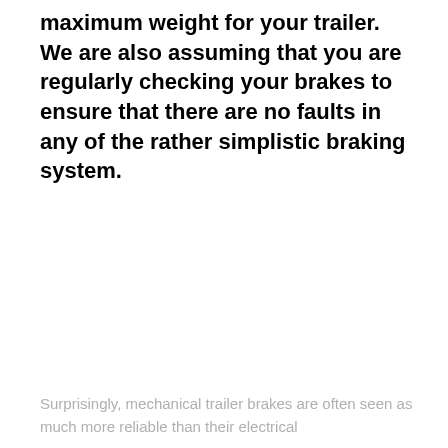maximum weight for your trailer. We are also assuming that you are regularly checking your brakes to ensure that there are no faults in any of the rather simplistic braking system.
Surprisingly, mechanical trailer brakes are often seen as much more reliable than their electrical